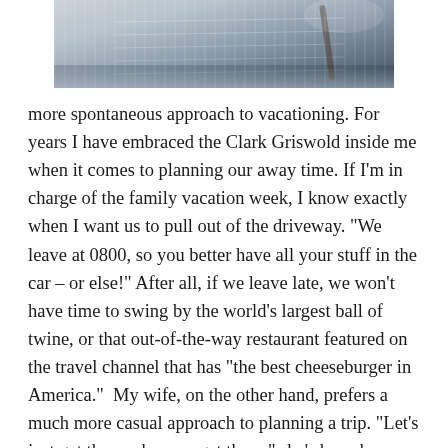[Figure (photo): Partial photo of what appears to be a notebook or paper with a pen, showing lined pages, viewed from above at an angle. Image is cropped, showing only the bottom portion of the photo.]
more spontaneous approach to vacationing. For years I have embraced the Clark Griswold inside me when it comes to planning our away time. If I'm in charge of the family vacation week, I know exactly when I want us to pull out of the driveway. "We leave at 0800, so you better have all your stuff in the car – or else!" After all, if we leave late, we won't have time to swing by the world's largest ball of twine, or that out-of-the-way restaurant featured on the travel channel that has "the best cheeseburger in America."  My wife, on the other hand, prefers a much more casual approach to planning a trip. "Let's just get there when we get there," she's been known to say. For her, planning has some value, but not a lot of value. The